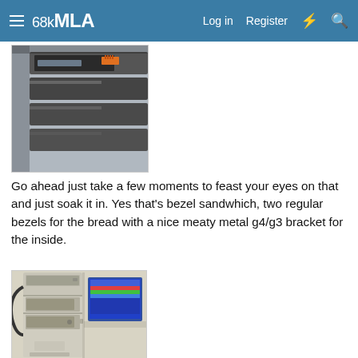68kMLA — Log in | Register
[Figure (photo): Close-up photo of computer hard drive or drive bay hardware with orange ribbon cable connector visible, mounted inside a computer chassis with metal brackets.]
Go ahead just take a few moments to feast your eyes on that and just soak it in. Yes that's bezel sandwhich, two regular bezels for the bread with a nice meaty metal g4/g3 bracket for the inside.
[Figure (photo): Photo of a beige Power Mac G4 tower computer standing upright on a desk, showing front panel with drive bays and Apple logo at the bottom. A monitor is partially visible in the background.]